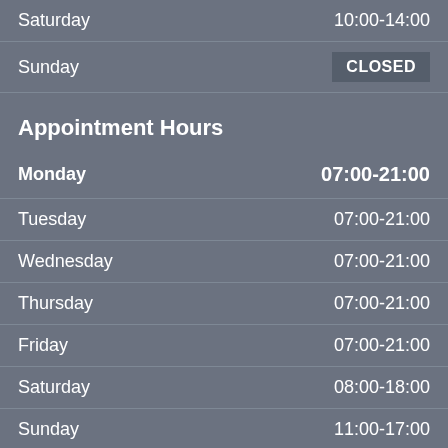| Day | Hours |
| --- | --- |
| Saturday | 10:00-14:00 |
| Sunday | CLOSED |
Appointment Hours
| Day | Hours |
| --- | --- |
| Monday | 07:00-21:00 |
| Tuesday | 07:00-21:00 |
| Wednesday | 07:00-21:00 |
| Thursday | 07:00-21:00 |
| Friday | 07:00-21:00 |
| Saturday | 08:00-18:00 |
| Sunday | 11:00-17:00 |